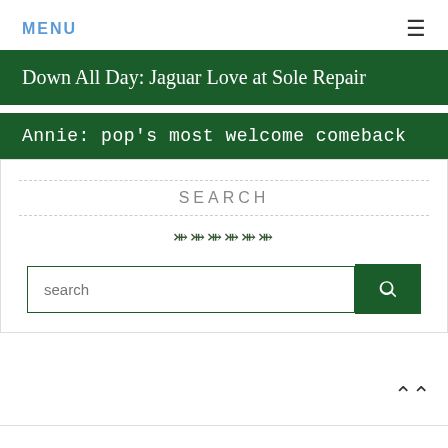MENU
Down All Day: Jaguar Love at Sole Repair
Annie: pop's most welcome comeback
SEARCH